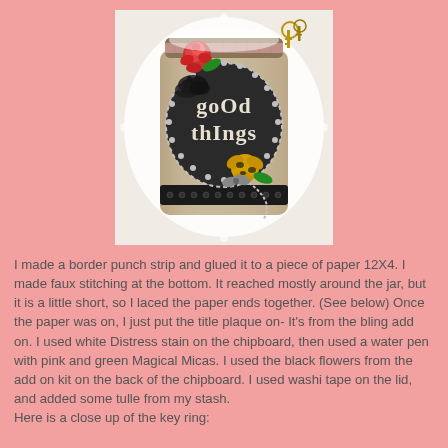[Figure (photo): A decorated craft jar with 'good things' written on a dark oval plaque, adorned with a red rose, black lace trim, yellow-black flower, pearl/bead chains, keys, and doily background]
I made a border punch strip and glued it to a piece of paper 12X4. I made faux stitching at the bottom. It reached mostly around the jar, but it is a little short, so I laced the paper ends together. (See below) Once the paper was on, I just put the title plaque on- It's from the bling add on. I used white Distress stain on the chipboard, then used a water pen with pink and green Magical Micas. I used the black flowers from the add on kit on the back of the chipboard. I used washi tape on the lid, and added some tulle from my stash.
Here is a close up of the key ring: